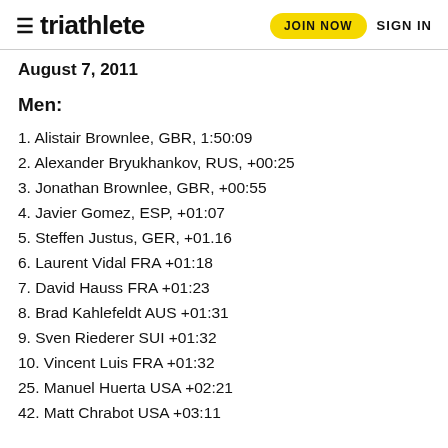triathlete | JOIN NOW | SIGN IN
August 7, 2011
Men:
1. Alistair Brownlee, GBR, 1:50:09
2. Alexander Bryukhankov, RUS, +00:25
3. Jonathan Brownlee, GBR, +00:55
4. Javier Gomez, ESP, +01:07
5. Steffen Justus, GER, +01.16
6. Laurent Vidal FRA +01:18
7. David Hauss FRA +01:23
8. Brad Kahlefeldt AUS +01:31
9. Sven Riederer SUI +01:32
10. Vincent Luis FRA +01:32
25. Manuel Huerta USA +02:21
42. Matt Chrabot USA +03:11